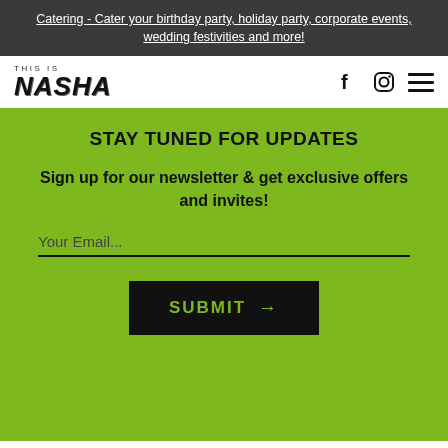Catering - Cater your birthday party, holiday party, corporate events, wedding festivities and more!
[Figure (logo): This Is Nasha logo with stylized grunge text]
STAY TUNED FOR UPDATES
Sign up for our newsletter & get exclusive offers and invites!
Your Email...
SUBMIT →